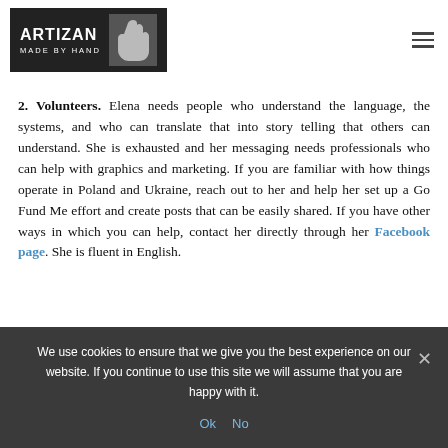ARTIZAN MADE BY HAND
2. Volunteers. Elena needs people who understand the language, the systems, and who can translate that into story telling that others can understand. She is exhausted and her messaging needs professionals who can help with graphics and marketing. If you are familiar with how things operate in Poland and Ukraine, reach out to her and help her set up a Go Fund Me effort and create posts that can be easily shared. If you have other ways in which you can help, contact her directly through her Facebook page. She is fluent in English.
We use cookies to ensure that we give you the best experience on our website. If you continue to use this site we will assume that you are happy with it.